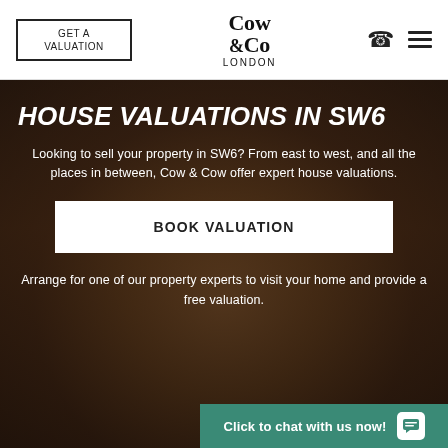GET A VALUATION | Cow & Co LONDON
HOUSE VALUATIONS IN SW6
Looking to sell your property in SW6? From east to west, and all the places in between, Cow & Cow offer expert house valuations.
BOOK VALUATION
Arrange for one of our property experts to visit your home and provide a free valuation.
Click to chat with us now!